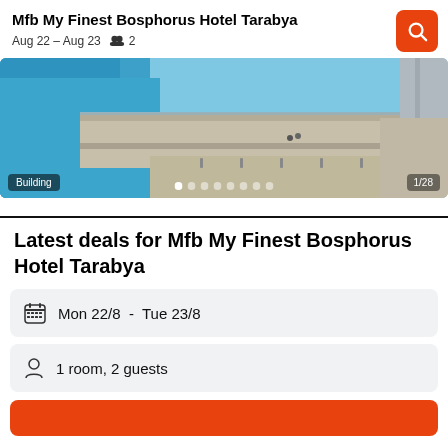Mfb My Finest Bosphorus Hotel Tarabya
Aug 22 – Aug 23   2
[Figure (photo): Aerial/elevated view of a waterfront promenade with turquoise water on the left and a road/sidewalk. Label 'Building' at bottom left, pagination '1/28' at bottom right, dot indicators at bottom center.]
Latest deals for Mfb My Finest Bosphorus Hotel Tarabya
Mon 22/8  -  Tue 23/8
1 room, 2 guests